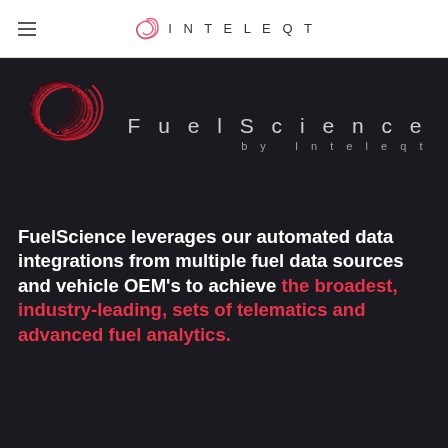INTELEQT
[Figure (logo): FuelScience by Inteleqt logo — a red swirling wave/ribbon icon on dark background next to the text 'FuelScience' and 'by Inteleqt' in white letters]
FuelScience leverages our automated data integrations from multiple fuel data sources and vehicle OEM's to achieve the broadest, industry-leading, sets of telematics and advanced fuel analytics.